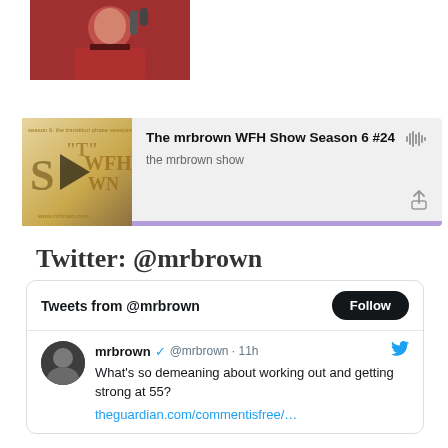[Figure (photo): Photo of a man in a red shirt holding a microphone or camera equipment]
[Figure (screenshot): Podcast player widget showing 'The mrbrown WFH Show Season 6 #24' by 'the mrbrown show' with play button, waveform icon, share button, and purple progress bar]
Twitter: @mrbrown
[Figure (screenshot): Twitter widget showing 'Tweets from @mrbrown' with a Follow button and a tweet from mrbrown (@mrbrown, 11h): 'What's so demeaning about working out and getting strong at 55? theguardian.com/commentisfree/…']